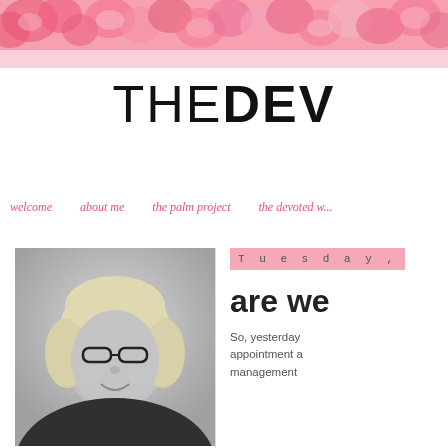[Figure (illustration): Pink floral watercolor banner header with roses]
THEDEV
welcome   about me   the palm project   the devoted w...
[Figure (photo): Black and white portrait photo of a woman with blonde hair and glasses, smiling]
Tuesday,
are we
So, yesterday appointment a management